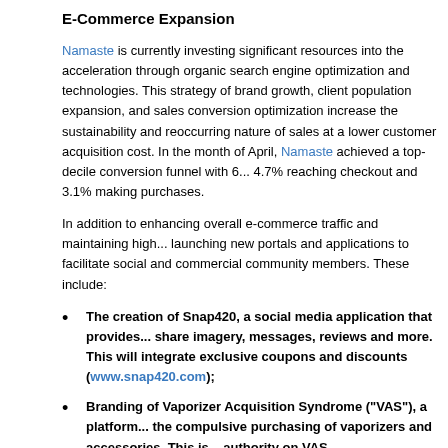E-Commerce Expansion
Namaste is currently investing significant resources into the acceleration through organic search engine optimization and technologies. This strategy of brand growth, client population expansion, and sales conversion optimization increase the sustainability and reoccurring nature of sales at a lower customer acquisition cost. In the month of April, Namaste achieved a top-decile conversion funnel with 6... 4.7% reaching checkout and 3.1% making purchases.
In addition to enhancing overall e-commerce traffic and maintaining high... launching new portals and applications to facilitate social and commercial community members. These include:
The creation of Snap420, a social media application that provides... share imagery, messages, reviews and more. This will integrate exclusive coupons and discounts (www.snap420.com);
Branding of Vaporizer Acquisition Syndrome (“VAS”), a platform... the compulsive purchasing of vaporizers and accessories. This is... authority on VAS (www.vaporizeraqcusitionsyndrome.com);
Development of VASTrader, an online community for vaporizer... and accessories. This platform, the first if its kind to focus exclusively...